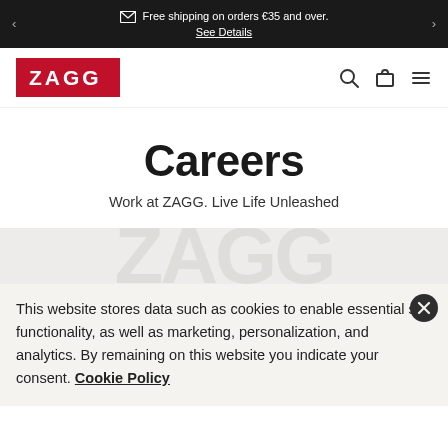Free shipping on orders €35 and over. See Details
[Figure (logo): ZAGG logo — white bold text on red background]
Careers
Work at ZAGG. Live Life Unleashed
This website stores data such as cookies to enable essential site functionality, as well as marketing, personalization, and analytics. By remaining on this website you indicate your consent. Cookie Policy